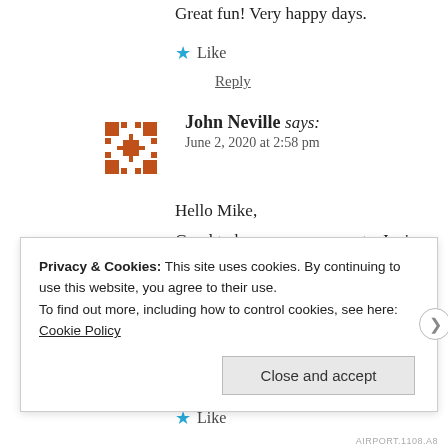Great fun! Very happy days.
★ Like
Reply
John Neville says:
June 2, 2020 at 2:58 pm
Hello Mike,
Good to hear your comments. Janice had heard it is absolutely fascinating, bringing back many who worked at Head Office alongside our fath
★ Like
Privacy & Cookies: This site uses cookies. By continuing to use this website, you agree to their use.
To find out more, including how to control cookies, see here: Cookie Policy
Close and accept